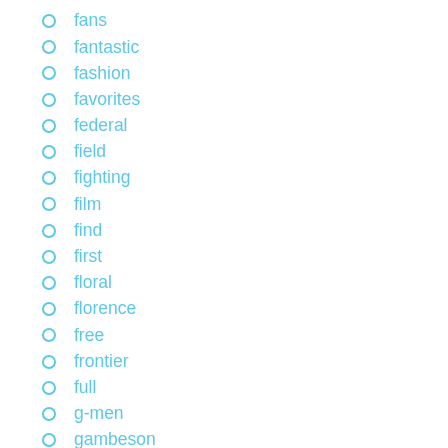fans
fantastic
fashion
favorites
federal
field
fighting
film
find
first
floral
florence
free
frontier
full
g-men
gambeson
general